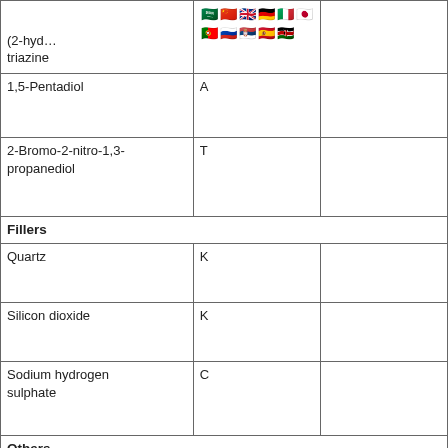| Substance | Code |  |
| --- | --- | --- |
| (2-hyd… triazine |  |  |
| 1,5-Pentadiol | A |  |
| 2-Bromo-2-nitro-1,3-propanediol | T |  |
| Fillers |  |  |
| Quartz | K |  |
| Silicon dioxide | K |  |
| Sodium hydrogen sulphate | C |  |
| Others |  |  |
| Subtilisin (Enzyme) | A |  |
| Sodium saccharine | K |  |